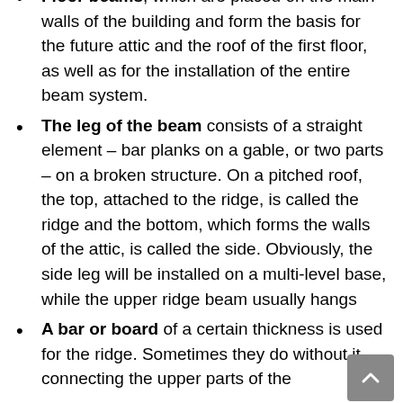Floor beams, which are placed on the main walls of the building and form the basis for the future attic and the roof of the first floor, as well as for the installation of the entire beam system.
The leg of the beam consists of a straight element – bar planks on a gable, or two parts – on a broken structure. On a pitched roof, the top, attached to the ridge, is called the ridge and the bottom, which forms the walls of the attic, is called the side. Obviously, the side leg will be installed on a multi-level base, while the upper ridge beam usually hangs
A bar or board of a certain thickness is used for the ridge. Sometimes they do without it, connecting the upper parts of the